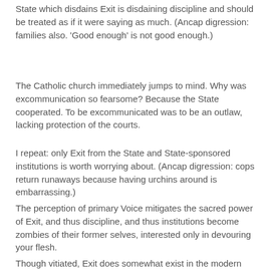State which disdains Exit is disdaining discipline and should be treated as if it were saying as much. (Ancap digression: families also. 'Good enough' is not good enough.)
The Catholic church immediately jumps to mind. Why was excommunication so fearsome? Because the State cooperated. To be excommunicated was to be an outlaw, lacking protection of the courts.
I repeat: only Exit from the State and State-sponsored institutions is worth worrying about. (Ancap digression: cops return runaways because having urchins around is embarrassing.)
The perception of primary Voice mitigates the sacred power of Exit, and thus discipline, and thus institutions become zombies of their former selves, interested only in devouring your flesh.
Though vitiated, Exit does somewhat exist in the modern